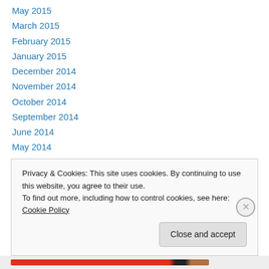May 2015
March 2015
February 2015
January 2015
December 2014
November 2014
October 2014
September 2014
June 2014
May 2014
April 2014
March 2014
February 2014
Privacy & Cookies: This site uses cookies. By continuing to use this website, you agree to their use.
To find out more, including how to control cookies, see here: Cookie Policy
Close and accept